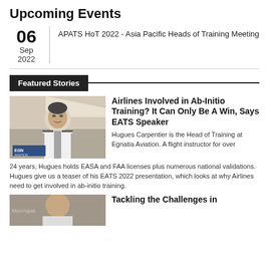Upcoming Events
06 Sep 2022 — APATS HoT 2022 - Asia Pacific Heads of Training Meeting
Featured Stories
[Figure (photo): Pilot in uniform standing in front of small aircraft with Egnatia Aviation logo]
Airlines Involved in Ab-Initio Training? It Can Only Be A Win, Says EATS Speaker
Hugues Carpentier is the Head of Training at Egnatia Aviation. A flight instructor for over 24 years, Hugues holds EASA and FAA licenses plus numerous national validations. Hugues give us a teaser of his EATS 2022 presentation, which looks at why Airlines need to get involved in ab-initio training.
[Figure (photo): Partial photo of person for second featured story]
Tackling the Challenges in